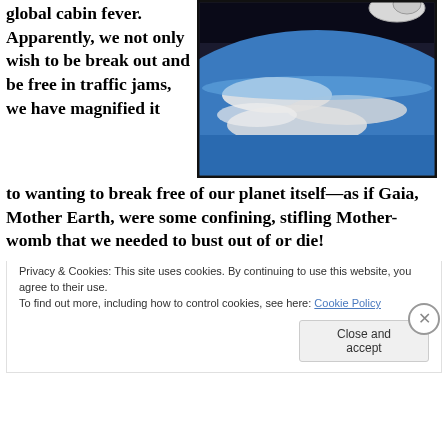global cabin fever. Apparently, we not only wish to be break out and be free in traffic jams, we have magnified it to wanting to break free of our planet itself—as if Gaia, Mother Earth, were some confining, stifling Mother-womb that we needed to bust out of or die!
[Figure (photo): Photo of Earth from space showing the curved horizon with blue atmosphere and white clouds, with a gloved astronaut hand visible at top right]
[Figure (photo): Partial view of a golden/orange toned image, partially obscured by the cookie consent banner]
Privacy & Cookies: This site uses cookies. By continuing to use this website, you agree to their use.
To find out more, including how to control cookies, see here: Cookie Policy